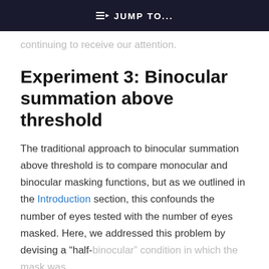JUMP TO...
continuing to receive our attention.
Experiment 3: Binocular summation above threshold
The traditional approach to binocular summation above threshold is to compare monocular and binocular masking functions, but as we outlined in the Introduction section, this confounds the number of eyes tested with the number of eyes masked. Here, we addressed this problem by devising a “half-binocular” condition in which the mask was presented to both the monocular and binocular presented target one. We began by fitting the two-stage model and the two-stage model could be fitted to each of
This site uses cookies. By continuing to use our website, you are agreeing to our privacy policy. Accept